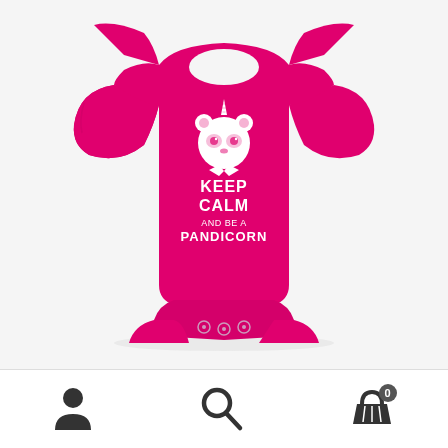[Figure (photo): Hot pink/fuchsia baby onesie with a cartoon panda-unicorn (pandicorn) graphic and text 'KEEP CALM AND BE A PANDICORN' printed in white on the front. The onesie has short sleeves, snap buttons at the bottom, and envelope neck folds at the shoulders.]
[Figure (illustration): Bottom navigation bar with three icons: a person/user silhouette icon on the left, a search/magnifying glass icon in the center, and a shopping basket icon with a '0' badge on the right.]